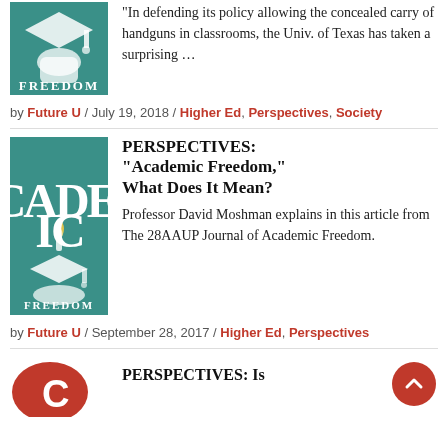[Figure (illustration): Teal square image with 'Academic Freedom' text and graduation cap icon (top article, partial view)]
“In defending its policy allowing the concealed carry of handguns in classrooms, the Univ. of Texas has taken a surprising …
by Future U / July 19, 2018 / Higher Ed, Perspectives, Society
[Figure (illustration): Teal square image with 'Academic Freedom' text and torch/graduation cap logo]
PERSPECTIVES: “Academic Freedom,” What Does It Mean?
Professor David Moshman explains in this article from The 28AAUP Journal of Academic Freedom.
by Future U / September 28, 2017 / Higher Ed, Perspectives
[Figure (illustration): Partial red/white logo image at bottom left]
PERSPECTIVES: Is